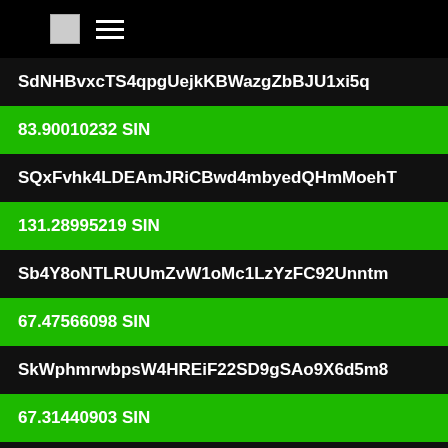[logo] ≡
SdNHBvxcTS4qpgUejkKBWazgZbBJU1xi5q
83.90010232 SIN
SQxFvhk4LDEAmJRiCBwd4mbyedQHmMoehT
131.28995219 SIN
Sb4Y8oNTLRUUmZvW1oMc1LzYzFC92Unntm
67.47566098 SIN
SkWphmrwbpsW4HREiF22SD9gSAo9X6d5m8
67.31440903 SIN
ShzS39nyQraNAATyXY8Qatp6gwnWXHZ5Xo
61.84419915 SIN